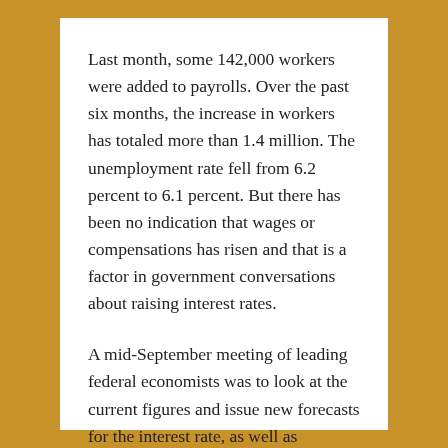Last month, some 142,000 workers were added to payrolls. Over the past six months, the increase in workers has totaled more than 1.4 million. The unemployment rate fell from 6.2 percent to 6.1 percent. But there has been no indication that wages or compensations has risen and that is a factor in government conversations about raising interest rates.
A mid-September meeting of leading federal economists was to look at the current figures and issue new forecasts for the interest rate, as well as projections for economic growth, unemployment and inflation.
FILED UNDER: RETAIL SALES